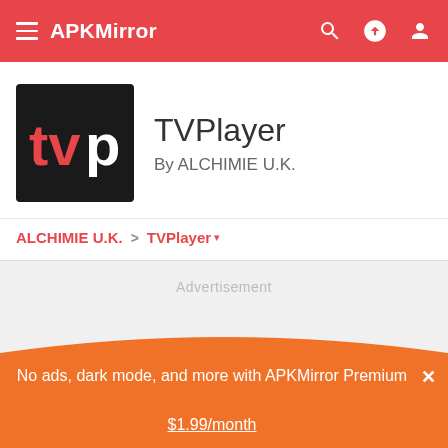APKMirror
[Figure (logo): TVPlayer app logo - black background with red 'tv' text and white 'p' letter]
TVPlayer
By ALCHIMIE U.K.
ALCHIMIE U.K.  >  TVPlayer ▾
Advertisement
No ads, dark mode, and more with APKMirror Premium  ✕
$1.99/month